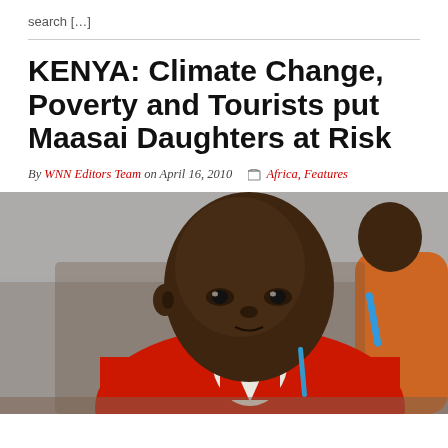search […]
KENYA: Climate Change, Poverty and Tourists put Maasai Daughters at Risk
By WNN Editors Team on April 16, 2010  Africa, Features
[Figure (photo): A young Maasai girl in a red school uniform sits at a desk, looking at the camera. Another child is visible in the background on the right, also appearing to hold a pen or pencil.]